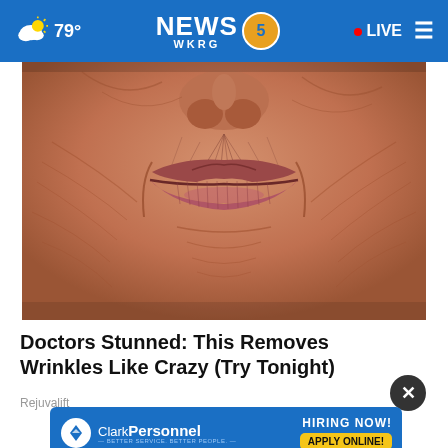79° NEWS 5 WKRG • LIVE
[Figure (photo): Close-up macro photo of an elderly person's wrinkled mouth and lips area, showing deep facial wrinkles around puckered lips]
Doctors Stunned: This Removes Wrinkles Like Crazy (Try Tonight)
Rejuvalift
[Figure (infographic): Clark Personnel advertisement banner with blue background, company logo with diamond icon, tagline 'Better Service. Better People.', 'HIRING NOW!' text, and yellow 'APPLY ONLINE!' button]